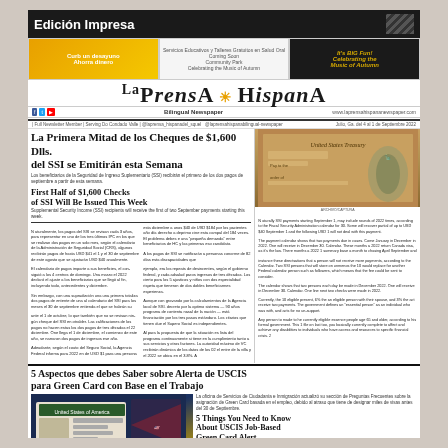Edición Impresa
[Figure (photo): Advertisement banner row with three ads: orange nutrition ad, middle community services ad, right Big Fun music event ad]
La Prensa Hispana — Bilingual Newspaper
www.laprensahispananewspaper.com | Julio, Ga. del 4 al 1 de Septiembre 2022
La Primera Mitad de los Cheques de $1,600 Dlls. del SSI se Emitirán esta Semana
Los beneficiarios de la Seguridad de Ingreso Suplementario (SSI) recibirán el primero de los dos pagos de septiembre a partir de esta semana.
First Half of $1,600 Checks of SSI Will Be Issued This Week
Supplemental Security Income (SSI) recipients will receive the first of two September payments starting this week.
[Figure (photo): US Treasury check with Statue of Liberty image]
N aturalmente, los pagos del SSI se revisan cada 3 años, para representar el costo de los tres últimos IPC en los que se realizan dos pagos en un solo mes, según el calendario de la Administración de Seguridad Social (CRS), algunos recibirán pagos de hasta USD $41 el 1 y el 30 de septiembre de este agosto que se ajustarán USD $40 anualmente...
5 Aspectos que debes Saber sobre Alerta de USCIS para Green Card con Base en el Trabajo
La oficina de Servicios de Ciudadanía e Inmigración actualizó su sección de Preguntas Frecuentes sobre la asignación de Green Card basada en el empleo, debido al atraso que tiene de designar miles de visas antes del 30 de Septiembre.
5 Things You Need to Know About USCIS Job-Based Green Card Alert
The Citizenship and Immigration Services office updated its Frequently Asked Questions section on the assignment of Green Cards based on employment, due to the rush it has to designate thousands of visas before the 20 of September.
[Figure (photo): Green card and US flag document image]
FOTO: LA PRENSA